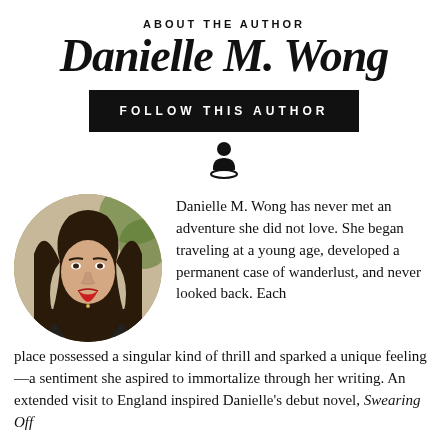ABOUT THE AUTHOR
Danielle M. Wong
[Figure (other): Black button reading FOLLOW THIS AUTHOR in white uppercase letters]
[Figure (other): Person/user icon silhouette with circular base, black]
[Figure (photo): Circular portrait photo of Danielle M. Wong, a young woman with long dark hair, wearing a black top, with red lipstick, photographed outdoors]
Danielle M. Wong has never met an adventure she did not love. She began traveling at a young age, developed a permanent case of wanderlust, and never looked back. Each place possessed a singular kind of thrill and sparked a unique feeling—a sentiment she aspired to immortalize through her writing. An extended visit to England inspired Danielle's debut novel, Swearing Off